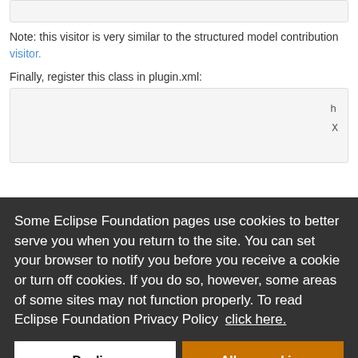Note: this visitor is very similar to the structured model contribution visitor.
Finally, register this class in plugin.xml:
[Figure (screenshot): Partial code block showing XML snippet (partially visible: h, X)]
Some Eclipse Foundation pages use cookies to better serve you when you return to the site. You can set your browser to notify you before you receive a cookie or turn off cookies. If you do so, however, some areas of some sites may not function properly. To read Eclipse Foundation Privacy Policy click here.
Decline
Allow cookies
[Figure (screenshot): Partial code block at bottom showing PHP comment: * (even though I've seen PHP code like th]